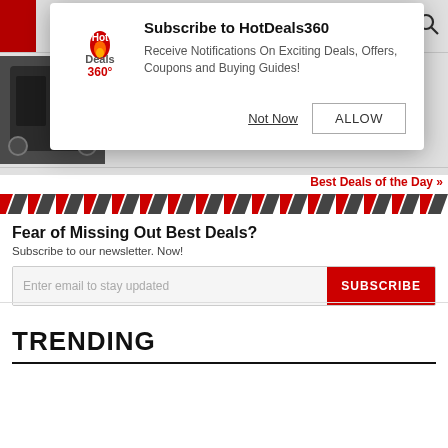[Figure (screenshot): HotDeals360 website screenshot showing a subscription popup modal over a product page. The modal shows the HotDeals360 logo, a title 'Subscribe to HotDeals360', description text, and two buttons: 'Not Now' and 'ALLOW'. Behind the modal is a product image, price ₹299, and amazon.in logo. Below is a Best Deals of the Day bar, a diagonal stripe decorative banner, a newsletter signup section with 'Fear of Missing Out Best Deals?' heading, and a TRENDING section header.]